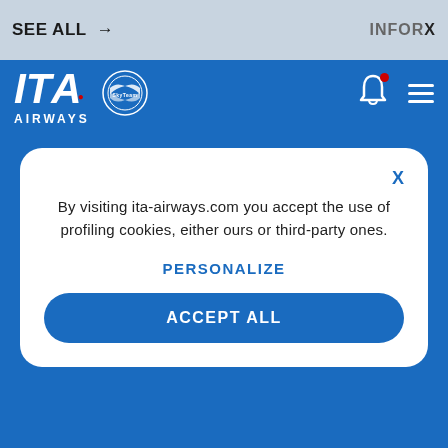INFOR X
SEE ALL →
[Figure (logo): ITA Airways logo with SkyTeam badge on blue background]
By visiting ita-airways.com you accept the use of profiling cookies, either ours or third-party ones.
PERSONALIZE
ACCEPT ALL